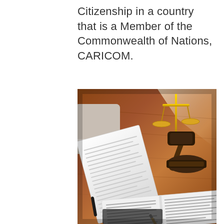Citizenship in a country that is a Member of the Commonwealth of Nations, CARICOM.
[Figure (photo): A person's hand holding legal documents over a wooden desk, with a judge's gavel and a golden scales of justice in the background, and an open legal document with a pen in the foreground.]